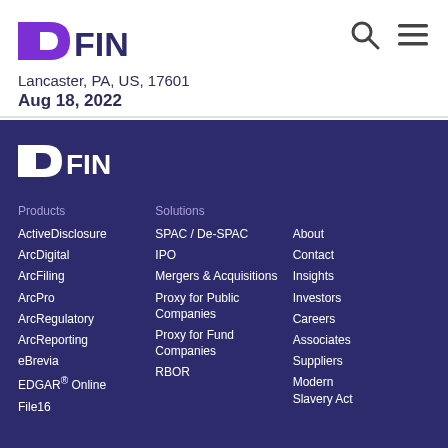DFIN
Lancaster, PA, US, 17601
Aug 18, 2022
[Figure (logo): DFIN logo in white on dark purple background]
Products
ActiveDisclosure
ArcDigital
ArcFiling
ArcPro
ArcRegulatory
ArcReporting
eBrevia
EDGAR® Online
File16
Solutions
SPAC / De-SPAC
IPO
Mergers & Acquisitions
Proxy for Public Companies
Proxy for Fund Companies
RBOR
About
Contact
Insights
Investors
Careers
Associates
Suppliers
Modern Slavery Act